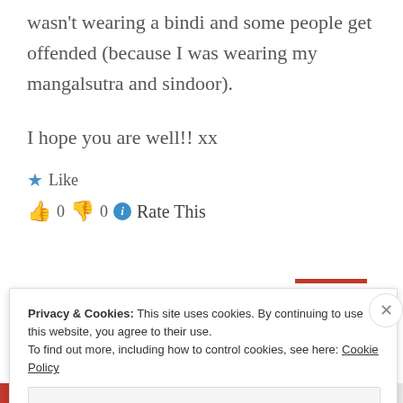wasn't wearing a bindi and some people get offended (because I was wearing my mangalsutra and sindoor).
I hope you are well!! xx
★ Like
👍 0 👎 0 ℹ Rate This
Privacy & Cookies: This site uses cookies. By continuing to use this website, you agree to their use. To find out more, including how to control cookies, see here: Cookie Policy
Close and accept